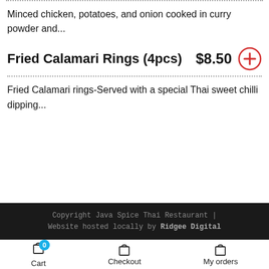Minced chicken, potatoes, and onion cooked in curry powder and...
Fried Calamari Rings (4pcs)   $8.50
Fried Calamari rings-Served with a special Thai sweet chilli dipping...
Copyright Java Spice Thai Restaurant | Website hosted locally by Ridgee Digital